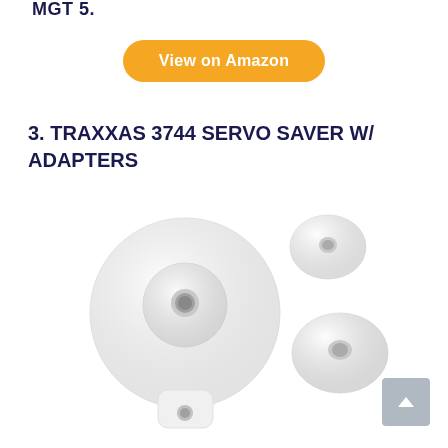MGT 5.
View on Amazon
3. TRAXXAS 3744 SERVO SAVER W/ ADAPTERS
[Figure (photo): White plastic Traxxas 3744 servo saver with adapters - main disc-shaped piece with central hole and tab with hole at bottom, plus two smaller dome-shaped adapter caps to the right]